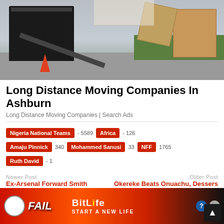[Figure (photo): Moving truck with ramp extended, cardboard boxes on lawn, orange traffic cones visible]
Long Distance Moving Companies In Ashburn
Long Distance Moving Companies | Search Ads
Nigeria National Teams 5589   Africa 126
Amaju Pinnick 340   Mohammed Sanusi 33   NFF 1765
Ruth David 1
Newer Post
Ex-Arsenal Forward Smith Slams Ajayi For Error Vs W...
Older Post
Okereke Beats Onuachu, Dessers To Belgi... League Are ...mpio...
[Figure (screenshot): BitLife advertisement banner with FAIL text and Start A New Life tagline]